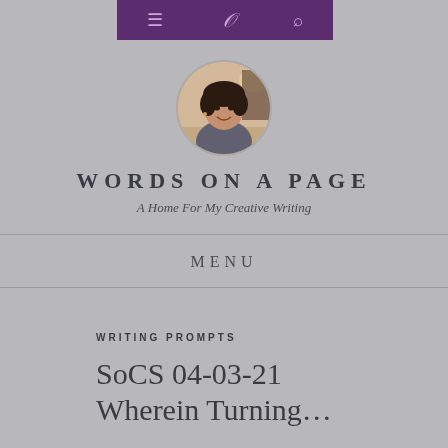Navigation bar with menu, logo, and search icons
[Figure (photo): Circular profile photo of a woman with short dark hair]
WORDS ON A PAGE
A Home For My Creative Writing
MENU
WRITING PROMPTS
SoCS 04-03-21
Wherein Turning…